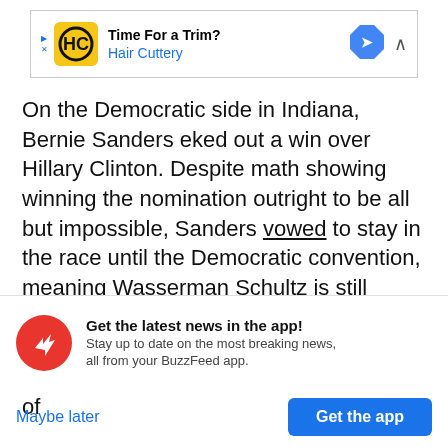[Figure (other): Advertisement banner for Hair Cuttery: 'Time For a Trim?' with HC logo in yellow square and blue navigation diamond icon]
On the Democratic side in Indiana, Bernie Sanders eked out a win over Hillary Clinton. Despite math showing winning the nomination outright to be all but impossible, Sanders vowed to stay in the race until the Democratic convention, meaning Wasserman Schultz is still presiding over a contested primary that has seen her trashed by Sanders supporters who see her DNC as an arm of
[Figure (other): BuzzFeed app notification widget with red circular logo showing upward arrow, title 'Get the latest news in the app!', subtitle 'Stay up to date on the most breaking news, all from your BuzzFeed app.' with 'Maybe later' and 'Get the app' buttons]